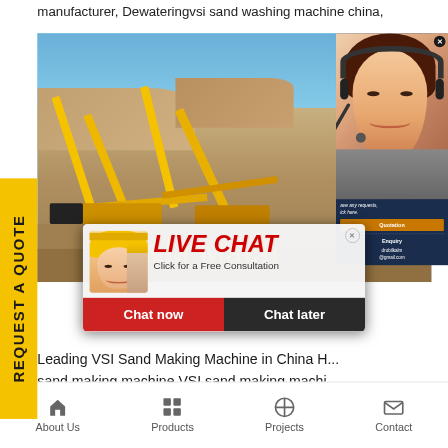manufacturer, Dewateringvsi sand washing machine china,
[Figure (photo): Industrial mining site with yellow conveyor equipment in a desert quarry, with C&M Mach text overlay]
[Figure (photo): Live chat popup with woman in hard hat, showing LIVE CHAT heading, 'Click for a Free Consultation', Chat now and Chat later buttons]
[Figure (photo): Customer service representative with headset smiling, shown in right sidebar with close X button]
ave any requests, ick here.
Quotation
Enquiry
drobilkalm@gmail.com
Leading VSI Sand Making Machine in China H... sand making machine VSI sand making machi... VSI series vertical shaft impact crusher. It is a new... efficiency sand making and crushing equipmenvsi...
About Us   Products   Projects   Contact